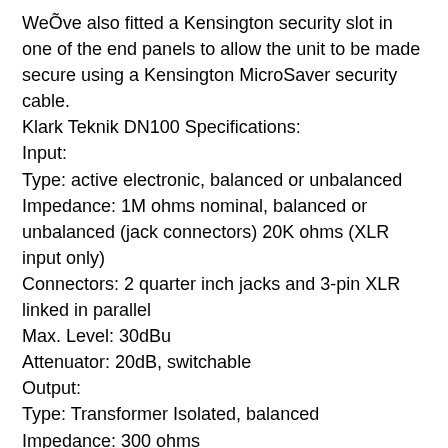WeÕve also fitted a Kensington security slot in one of the end panels to allow the unit to be made secure using a Kensington MicroSaver security cable.
Klark Teknik DN100 Specifications:
Input:
Type: active electronic, balanced or unbalanced
Impedance: 1M ohms nominal, balanced or unbalanced (jack connectors) 20K ohms (XLR input only)
Connectors: 2 quarter inch jacks and 3-pin XLR linked in parallel
Max. Level: 30dBu
Attenuator: 20dB, switchable
Output:
Type: Transformer Isolated, balanced
Impedance: 300 ohms
Connector: 3 pin XLR
Max. Level: 10dBu with load >2k ohms